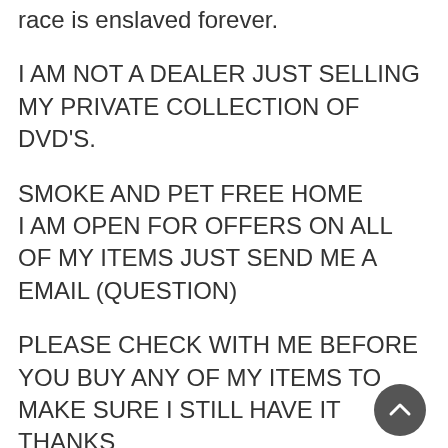race is enslaved forever.
I AM NOT A DEALER JUST SELLING MY PRIVATE COLLECTION OF DVD'S.
SMOKE AND PET FREE HOME
I AM OPEN FOR OFFERS ON ALL OF MY ITEMS JUST SEND ME A EMAIL (QUESTION)
PLEASE CHECK WITH ME BEFORE YOU BUY ANY OF MY ITEMS TO MAKE SURE I STILL HAVE IT THANKS
THESE DVD ARE NOT RENTAL DVD'S
THEY ARE MY PRIVATE COLLECTION
PLEASE EMAIL BEFORE YOU BUY FOR COMBINE SHIPPING PRICE FOR TWO OR MORE DVD'S.
PLEASE CHECK WITH ME BEFORE YOU BUY ANY OF MY ITEMS TO MAKE SURE I STILL HAVE IT THANKS